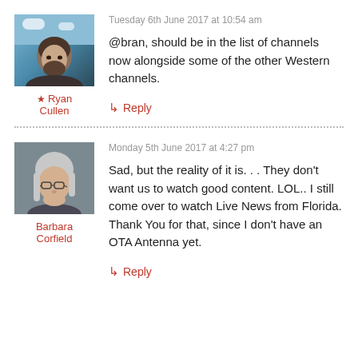Tuesday 6th June 2017 at 10:54 am
@bran, should be in the list of channels now alongside some of the other Western channels.
Ryan Cullen
↳ Reply
Monday 5th June 2017 at 4:27 pm
Sad, but the reality of it is. . . They don't want us to watch good content. LOL.. I still come over to watch Live News from Florida. Thank You for that, since I don't have an OTA Antenna yet.
Barbara Corfield
↳ Reply